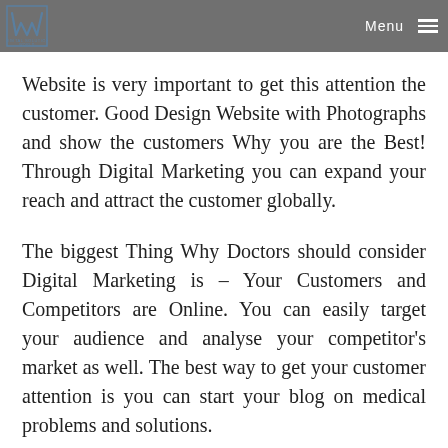Menu
Website is very important to get this attention the customer. Good Design Website with Photographs and show the customers Why you are the Best! Through Digital Marketing you can expand your reach and attract the customer globally.
The biggest Thing Why Doctors should consider Digital Marketing is – Your Customers and Competitors are Online. You can easily target your audience and analyse your competitor's market as well. The best way to get your customer attention is you can start your blog on medical problems and solutions.
Research shows that 3.8 billion people are internet users and almost half of the world's population is online.